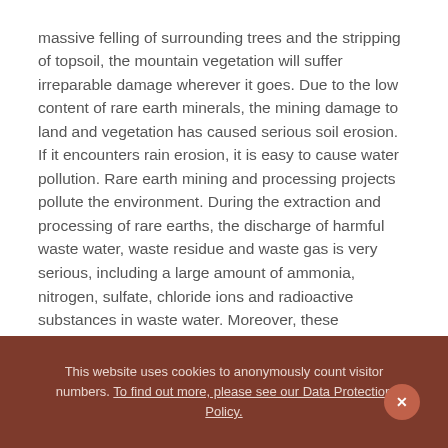massive felling of surrounding trees and the stripping of topsoil, the mountain vegetation will suffer irreparable damage wherever it goes. Due to the low content of rare earth minerals, the mining damage to land and vegetation has caused serious soil erosion. If it encounters rain erosion, it is easy to cause water pollution. Rare earth mining and processing projects pollute the environment. During the extraction and processing of rare earths, the discharge of harmful waste water, waste residue and waste gas is very serious, including a large amount of ammonia, nitrogen, sulfate, chloride ions and radioactive substances in waste water. Moreover, these contaminations remain underground for a long time. These heavy metals or harmful elements will enter rivers or groundwater bodies under the action of rain wash. Once groundwater resources are polluted, residents' health and ecological environment will be seriously affected, and the consequences will be unimaginable.
This website uses cookies to anonymously count visitor numbers. To find out more, please see our Data Protection Policy.